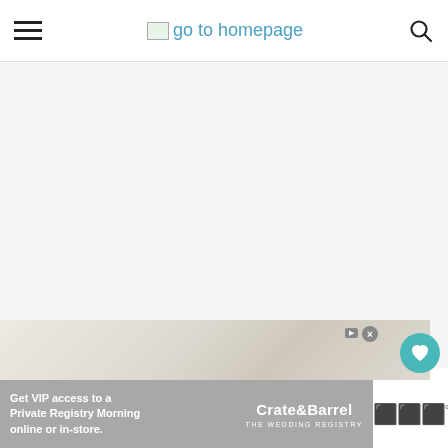go to homepage
[Figure (photo): Large whitespace/content area below header, light gray background]
[Figure (photo): Article hero image with faded beige/tan tones, abstract background suggesting table setting or fabric]
Get VIP access to a Private Registry Morning online or in-store.
Crate&Barrel THE WEDDING REGISTRY